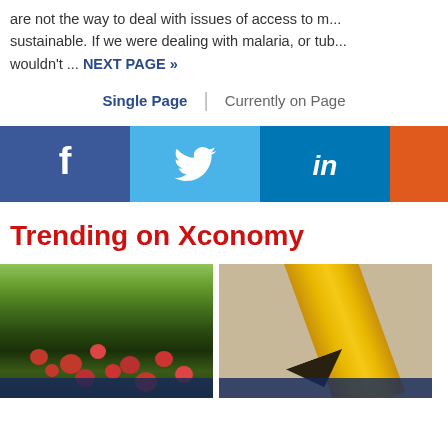are not the way to deal with issues of access to m... sustainable. If we were dealing with malaria, or tub... wouldn't ... NEXT PAGE »
Single Page | Currently on Page
[Figure (infographic): Social share bar with Facebook, Twitter, LinkedIn, and one more button]
Trending on Xconomy
[Figure (photo): Apples fallen on grass under trees in an orchard]
[Figure (photo): Close-up of a yellow pencil tip on paper]